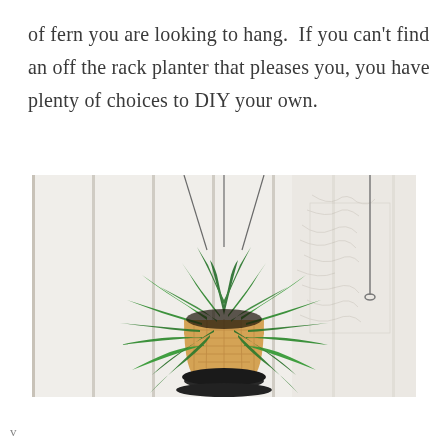of fern you are looking to hang.  If you can't find an off the rack planter that pleases you, you have plenty of choices to DIY your own.
[Figure (photo): A lush green fern in a natural woven basket planter, hanging by thin metal chains in front of vertical wood panel walls and a map on the wall in the background.]